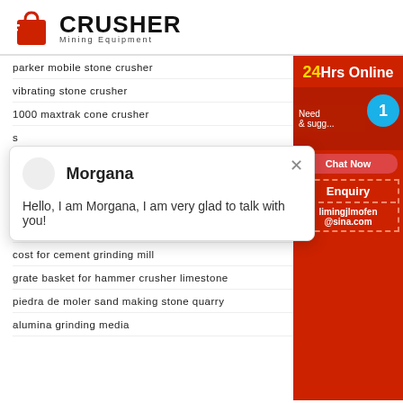[Figure (logo): Crusher Mining Equipment logo with red shopping bag icon and bold black text]
parker mobile stone crusher
vibrating stone crusher
1000 maxtrak cone crusher
s
h
b
heavy machinery malaysia for rent
turmeric red chilli powder grinding machine
cost for cement grinding mill
grate basket for hammer crusher limestone
piedra de moler sand making stone quarry
alumina grinding media
[Figure (screenshot): Chat popup from Morgana: Hello, I am Morgana, I am very glad to talk with you!]
[Figure (infographic): Red sidebar with 24Hrs Online button, Need & suggestions area, Chat Now button, Enquiry section, and limingjlmofen@sina.com email]